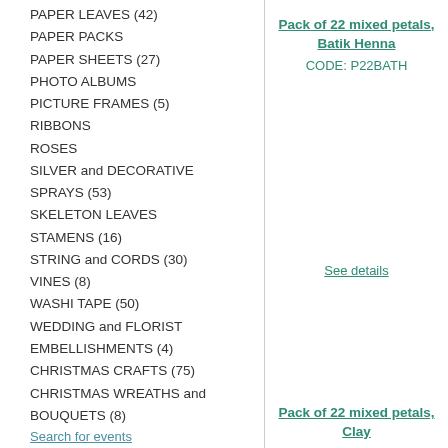PAPER LEAVES (42)
PAPER PACKS
PAPER SHEETS (27)
PHOTO ALBUMS
PICTURE FRAMES (5)
RIBBONS
ROSES
SILVER and DECORATIVE SPRAYS (53)
SKELETON LEAVES
STAMENS (16)
STRING and CORDS (30)
VINES (8)
WASHI TAPE (50)
WEDDING and FLORIST EMBELLISHMENTS (4)
CHRISTMAS CRAFTS (75)
CHRISTMAS WREATHS and BOUQUETS (8)
Pack of 22 mixed petals, Batik Henna
CODE: P22BATH
See details
Pack of 22 mixed petals, Clay
Search for events